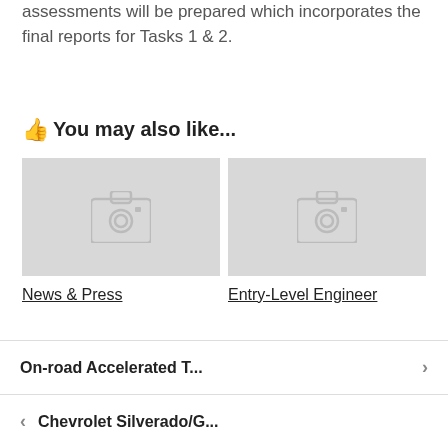assessments will be prepared which incorporates the final reports for Tasks 1 & 2.
👍 You may also like...
[Figure (photo): Placeholder image thumbnail (camera icon on grey background) for News & Press]
News & Press
[Figure (photo): Placeholder image thumbnail (camera icon on grey background) for Entry-Level Engineer]
Entry-Level Engineer
On-road Accelerated T...
Chevrolet Silverado/G...